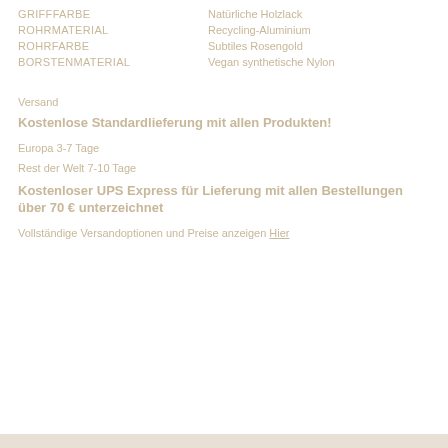| GRIFFFARBE | Natürliche Holzlack |
| ROHRMATERIAL | Recycling-Aluminium |
| ROHRFARBE | Subtiles Rosengold |
| BORSTENMATERIAL | Vegan synthetische Nylon |
Versand
Kostenlose Standardlieferung mit allen Produkten!
Europa 3-7 Tage
Rest der Welt 7-10 Tage
Kostenloser UPS Express für Lieferung mit allen Bestellungen über 70 € unterzeichnet
Vollständige Versandoptionen und Preise anzeigen Hier